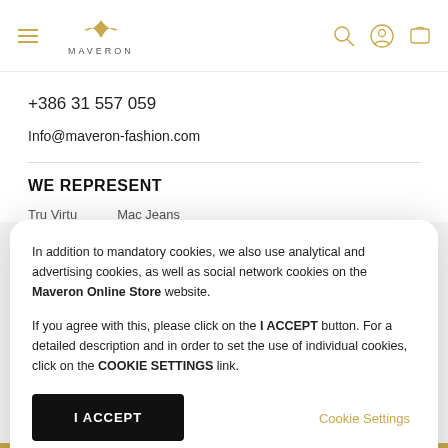MAVERON — navigation header with logo, hamburger menu, search, account, and cart icons
+386 31 557 059
Info@maveron-fashion.com
WE REPRESENT
Tru Virtu   Mac Jeans
In addition to mandatory cookies, we also use analytical and advertising cookies, as well as social network cookies on the Maveron Online Store website.

If you agree with this, please click on the I ACCEPT button. For a detailed description and in order to set the use of individual cookies, click on the COOKIE SETTINGS link.
I ACCEPT
Cookie Settings
* Indicates required